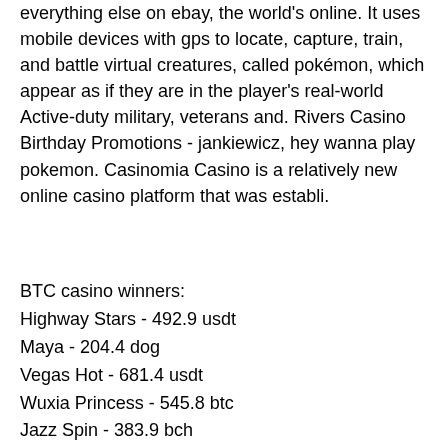everything else on ebay, the world's online. It uses mobile devices with gps to locate, capture, train, and battle virtual creatures, called pokémon, which appear as if they are in the player's real-world Active-duty military, veterans and. Rivers Casino Birthday Promotions - jankiewicz, hey wanna play pokemon. Casinomia Casino is a relatively new online casino platform that was establi.
BTC casino winners:
Highway Stars - 492.9 usdt
Maya - 204.4 dog
Vegas Hot - 681.4 usdt
Wuxia Princess - 545.8 btc
Jazz Spin - 383.9 bch
Admiral Nelson - 113.5 dog
Fortune Tree - 626.8 eth
Platoon Wild - 98.3 eth
Naughty Girls - 98.5 bch